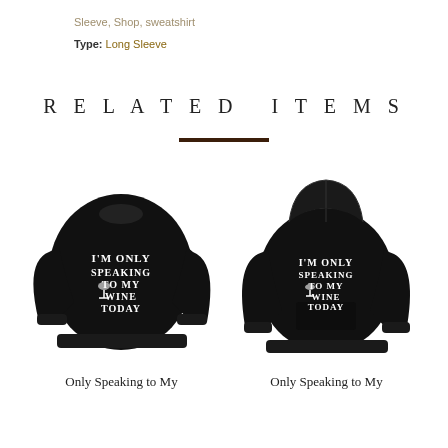Sleeve, Shop, sweatshirt
Type: Long Sleeve
RELATED ITEMS
[Figure (photo): Black crewneck sweatshirt with text 'I'M ONLY SPEAKING TO MY WINE TODAY' and wine glass graphic]
Only Speaking to My
[Figure (photo): Black hoodie sweatshirt with text 'I'M ONLY SPEAKING TO MY WINE TODAY' and wine glass graphic]
Only Speaking to My